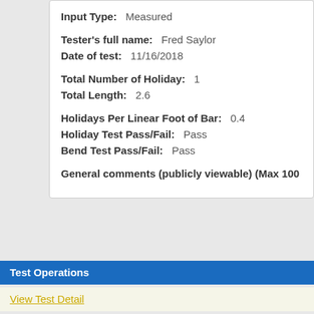Input Type: Measured
Tester's full name: Fred Saylor
Date of test: 11/16/2018
Total Number of Holiday: 1
Total Length: 2.6
Holidays Per Linear Foot of Bar: 0.4
Holiday Test Pass/Fail: Pass
Bend Test Pass/Fail: Pass
General comments (publicly viewable) (Max 100
Test Operations
View Test Detail